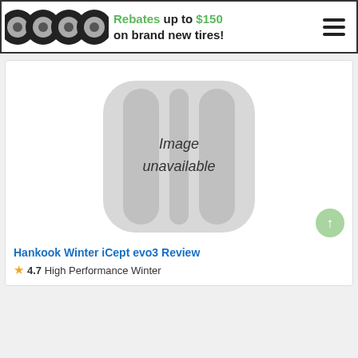[Figure (infographic): Promotional banner with tire images and text: Rebates up to $150 on brand new tires!]
[Figure (photo): Image unavailable placeholder showing a tire silhouette graphic with text 'Image unavailable']
Hankook Winter iCept evo3 Review
★4.7 High Performance Winter